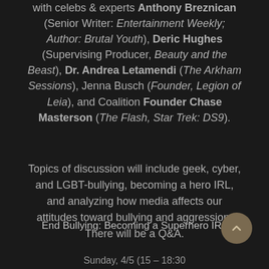with celebs & experts Anthony Breznican (Senior Writer: Entertainment Weekly; Author: Brutal Youth), Deric Hughes (Supervising Producer, Beauty and the Beast), Dr. Andrea Letamendi (The Arkham Sessions), Jenna Busch (Founder, Legion of Leia), and Coalition Founder Chase Masterson (The Flash, Star Trek: DS9).
Topics of discussion will include geek, cyber, and LGBT-bullying, becoming a hero IRL, and analyzing how media affects our attitudes toward bullying and aggression. There will be a Q&A.
End Bullying: Becoming a Superhero IRL
Sunday, 4/5 (15 – 18:30